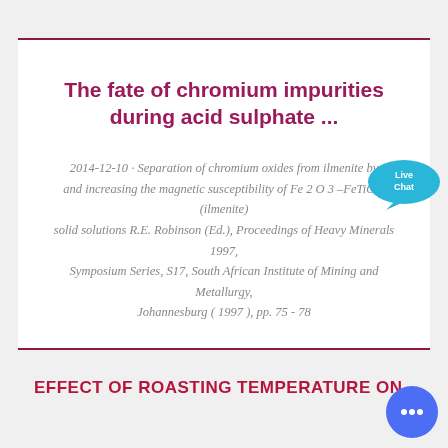The fate of chromium impurities during acid sulphate ...
2014-12-10 · Separation of chromium oxides from ilmenite by and increasing the magnetic susceptibility of Fe 2 O 3 –FeTiO 3 (ilmenite) solid solutions R.E. Robinson (Ed.), Proceedings of Heavy Minerals 1997, Symposium Series, S17, South African Institute of Mining and Metallurgy, Johannesburg ( 1997 ), pp. 75 - 78
EFFECT OF ROASTING TEMPERATURE ON